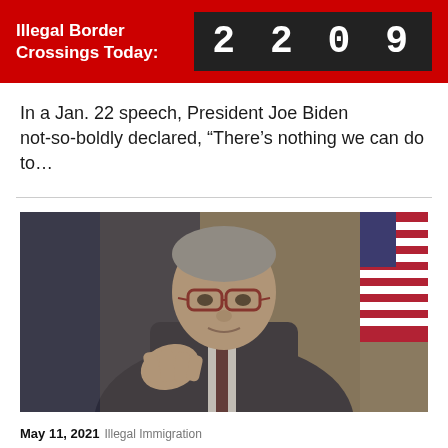Illegal Border Crossings Today: 2209
In a Jan. 22 speech, President Joe Biden not-so-boldly declared, “There’s nothing we can do to…
[Figure (photo): Man in glasses and dark suit gesturing with hand, with an American flag visible in the background]
May 11, 2021  Illegal Immigration